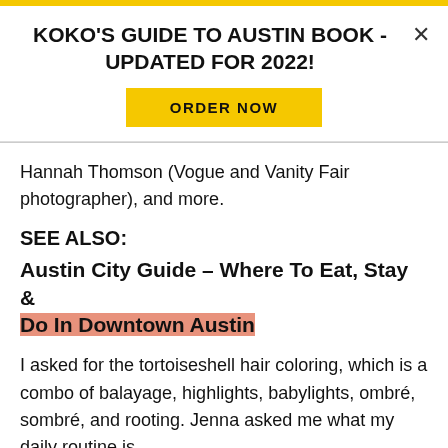[Figure (screenshot): Yellow top banner strip]
KOKO'S GUIDE TO AUSTIN BOOK - UPDATED FOR 2022!
ORDER NOW
Hannah Thomson (Vogue and Vanity Fair photographer), and more.
SEE ALSO:
Austin City Guide – Where To Eat, Stay & Do In Downtown Austin
I asked for the tortoiseshell hair coloring, which is a combo of balayage, highlights, babylights, ombré, sombré, and rooting. Jenna asked me what my daily routine is